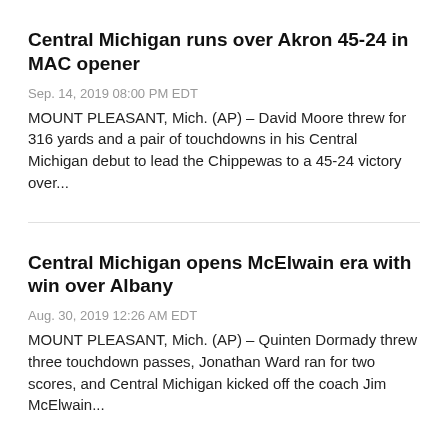Central Michigan runs over Akron 45-24 in MAC opener
Sep. 14, 2019 08:00 PM EDT
MOUNT PLEASANT, Mich. (AP) – David Moore threw for 316 yards and a pair of touchdowns in his Central Michigan debut to lead the Chippewas to a 45-24 victory over...
Central Michigan opens McElwain era with win over Albany
Aug. 30, 2019 12:26 AM EDT
MOUNT PLEASANT, Mich. (AP) – Quinten Dormady threw three touchdown passes, Jonathan Ward ran for two scores, and Central Michigan kicked off the coach Jim McElwain...